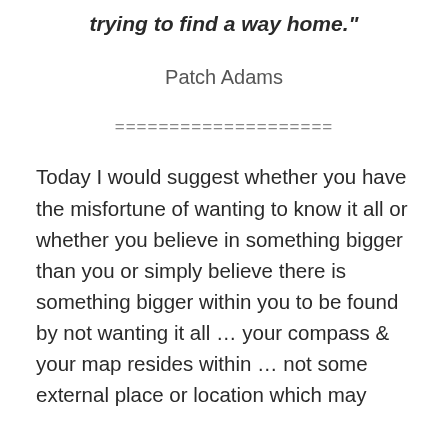trying to find a way home."
Patch Adams
====================
Today I would suggest whether you have the misfortune of wanting to know it all or whether you believe in something bigger than you or simply believe there is something bigger within you to be found by not wanting it all … your compass & your map resides within … not some external place or location which may